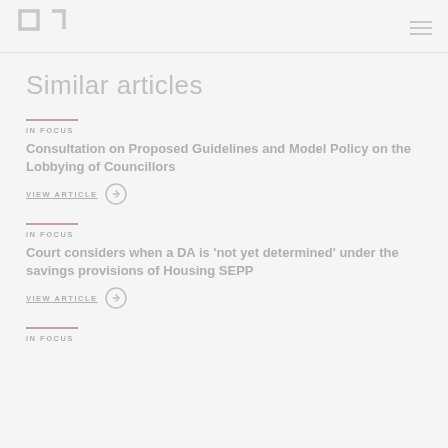HL logo and navigation
Similar articles
IN FOCUS
Consultation on Proposed Guidelines and Model Policy on the Lobbying of Councillors
VIEW ARTICLE
IN FOCUS
Court considers when a DA is 'not yet determined' under the savings provisions of Housing SEPP
VIEW ARTICLE
IN FOCUS